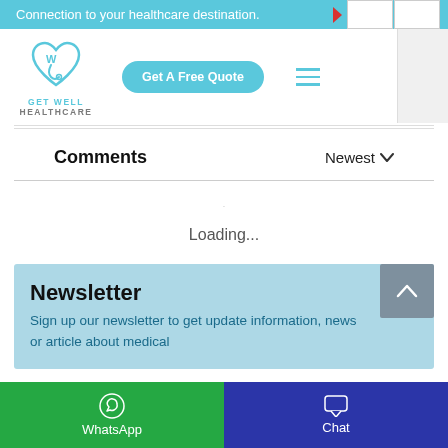Connection to your healthcare destination.
[Figure (logo): Get Well Healthcare logo — heart shape with 'W' inside and stethoscope, teal color]
Get A Free Quote
Comments
Newest
Loading...
Newsletter
Sign up our newsletter to get update information, news or article about medical
WhatsApp
Chat